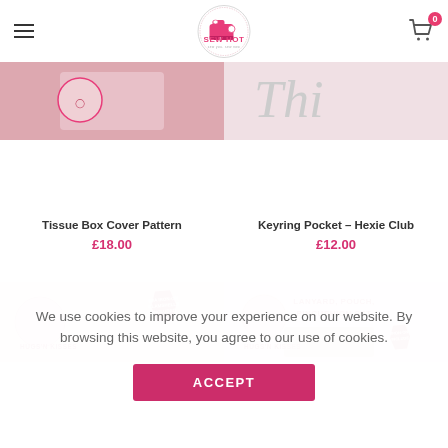Sew Hot – sew you. sew now | Navigation menu and cart (0 items)
[Figure (photo): Two product thumbnail images at top: left shows a pink circular motif (Tissue Box Cover Pattern), right shows partial text 'Thi' on light background (Keyring Pocket – Hexie Club)]
Tissue Box Cover Pattern
£18.00
Keyring Pocket – Hexie Club
£12.00
[Figure (photo): Two product thumbnail images at bottom: left shows Hugs'N Kisses pattern with pink clamshell circles and a hexagonal badge reading 'Eva Iron-On Clamshells Included'; right shows Hugs'N Kisses Lanyard, Pouch, Pincushion Set with floral fabric and badge]
We use cookies to improve your experience on our website. By browsing this website, you agree to our use of cookies.